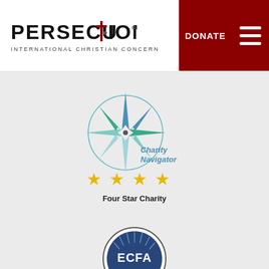[Figure (logo): Persecution.org International Christian Concern logo with cross and figure]
DONATE
[Figure (logo): Hamburger menu icon (three horizontal lines)]
[Figure (logo): Charity Navigator four-star compass rose logo with text 'Charity Navigator' and four gold stars and 'Four Star Charity' label]
[Figure (logo): ECFA Accredited seal logo]